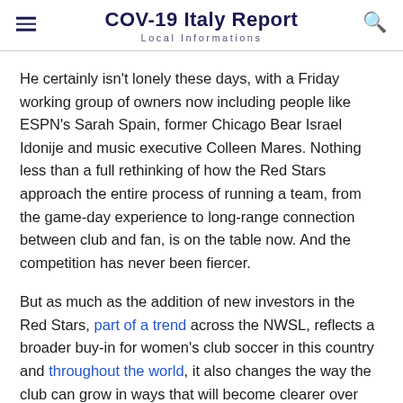COV-19 Italy Report
Local Informations
He certainly isn't lonely these days, with a Friday working group of owners now including people like ESPN's Sarah Spain, former Chicago Bear Israel Idonije and music executive Colleen Mares. Nothing less than a full rethinking of how the Red Stars approach the entire process of running a team, from the game-day experience to long-range connection between club and fan, is on the table now. And the competition has never been fiercer.
But as much as the addition of new investors in the Red Stars, part of a trend across the NWSL, reflects a broader buy-in for women's club soccer in this country and throughout the world, it also changes the way the club can grow in ways that will become clearer over time.
Take, for example, a small-bore issue like the team's Twitter account.